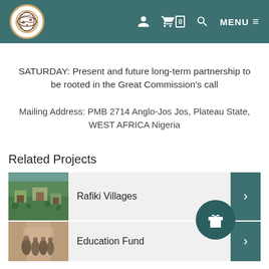[Figure (screenshot): Website header with teal background, circular logo with globe/people icon on left, and navigation icons (user, cart with 0, search, MENU) on right]
SATURDAY: Present and future long-term partnership to be rooted in the Great Commission's call
Mailing Address: PMB 2714 Anglo-Jos Jos, Plateau State, WEST AFRICA Nigeria
Related Projects
[Figure (photo): Aerial view of Rafiki Villages - green landscape with buildings and trees]
Rafiki Villages
[Figure (photo): Education Fund - students in a building/doorway]
Education Fund